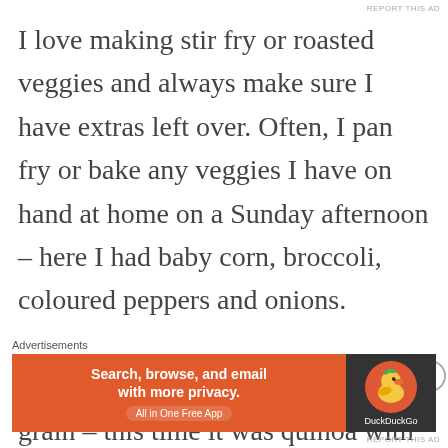I love making stir fry or roasted veggies and always make sure I have extras left over. Often, I pan fry or bake any veggies I have on hand at home on a Sunday afternoon – here I had baby corn, broccoli, coloured peppers and onions.

I also cook a large batch of any grain – this time it was quinoa with bulgar – and
[Figure (other): DuckDuckGo advertisement banner: orange left section with text 'Search, browse, and email with more privacy. All in One Free App' and dark right section with DuckDuckGo duck logo]